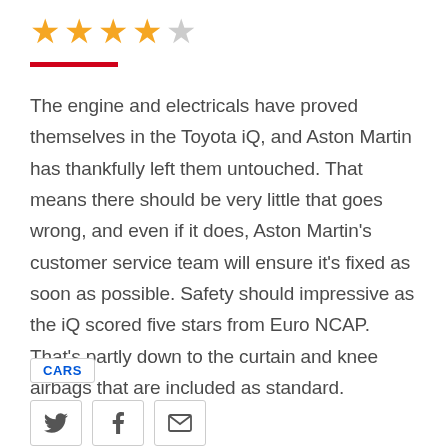[Figure (other): Star rating: 4 out of 5 stars (4 gold stars, 1 grey star)]
The engine and electricals have proved themselves in the Toyota iQ, and Aston Martin has thankfully left them untouched. That means there should be very little that goes wrong, and even if it does, Aston Martin's customer service team will ensure it's fixed as soon as possible. Safety should impressive as the iQ scored five stars from Euro NCAP. That's partly down to the curtain and knee airbags that are included as standard.
CARS
[Figure (other): Social sharing icons: Twitter bird icon, Facebook 'f' icon, Email envelope icon]